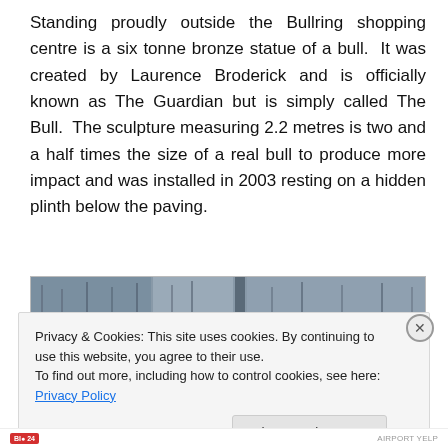Standing proudly outside the Bullring shopping centre is a six tonne bronze statue of a bull.  It was created by Laurence Broderick and is officially known as The Guardian but is simply called The Bull.  The sculpture measuring 2.2 metres is two and a half times the size of a real bull to produce more impact and was installed in 2003 resting on a hidden plinth below the paving.
[Figure (photo): Partial photo strip showing the top of an image of a building or urban scene, partially obscured by the cookie consent banner.]
Privacy & Cookies: This site uses cookies. By continuing to use this website, you agree to their use.
To find out more, including how to control cookies, see here: Privacy Policy
Close and accept